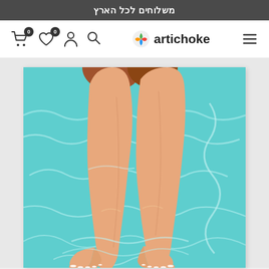משלוחים לכל הארץ
[Figure (screenshot): E-commerce website header/nav bar with cart (0), wishlist (0), account, and search icons on the left; Artichoke logo in the center-right; hamburger menu on the right]
[Figure (illustration): Illustration of two bare feet/legs in turquoise water with white wavy water reflections, viewed from above. Person wearing brown shorts. Feet have white-painted toenails.]